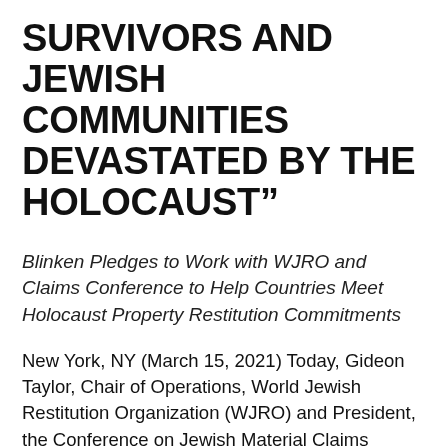SURVIVORS AND JEWISH COMMUNITIES DEVASTATED BY THE HOLOCAUST”
Blinken Pledges to Work with WJRO and Claims Conference to Help Countries Meet Holocaust Property Restitution Commitments
New York, NY (March 15, 2021) Today, Gideon Taylor, Chair of Operations, World Jewish Restitution Organization (WJRO) and President, the Conference on Jewish Material Claims Against Germany (Claims Conference), released a letter from US Secretary of State Antony J. Blinken that powerfully stated that he will prioritize resolution of remaining Holocaust-era property restitution issues and